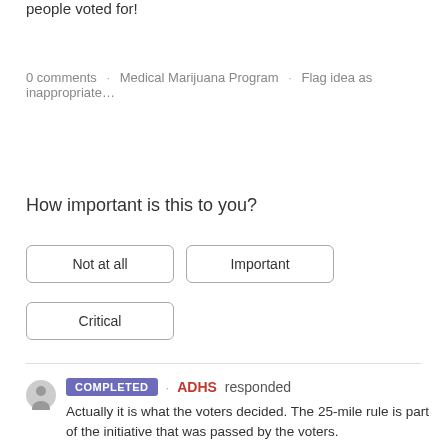people voted for!
0 comments · Medical Marijuana Program · Flag idea as inappropriate…
How important is this to you?
Not at all
Important
Critical
COMPLETED · ADHS responded
Actually it is what the voters decided. The 25-mile rule is part of the initiative that was passed by the voters.
3
votes
I would like to NOT continue to have my caregiver anymore. Their priceas are too high for me .